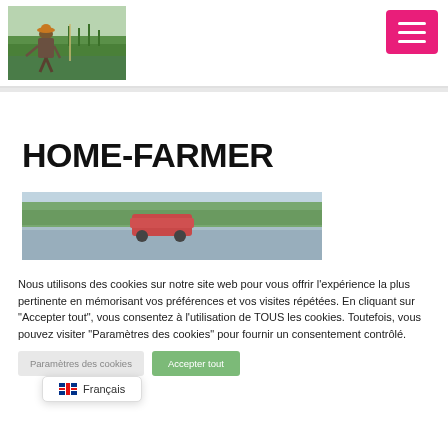[Figure (photo): Farmer working in green rice paddy field, wearing hat, bending over plants in water]
[Figure (other): Pink/red hamburger menu button with three white horizontal lines]
HOME-FARMER
[Figure (photo): Wide landscape photo of flooded rice fields with trees in background and farm equipment]
Nous utilisons des cookies sur notre site web pour vous offrir l'expérience la plus pertinente en mémorisant vos préférences et vos visites répétées. En cliquant sur "Accepter tout", vous consentez à l'utilisation de TOUS les cookies. Toutefois, vous pouvez visiter "Paramètres des cookies" pour fournir un consentement contrôlé.
Paramètres des cookies
Accepter tout
🇫🇷 Français